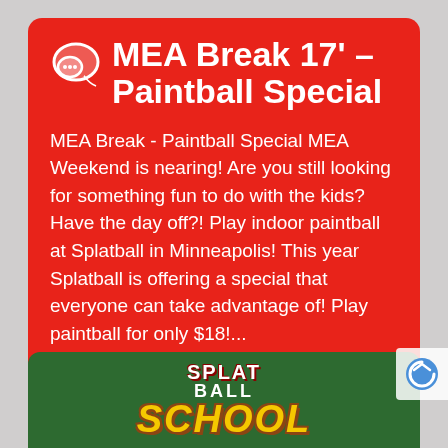MEA Break 17' – Paintball Special
MEA Break - Paintball Special MEA Weekend is nearing! Are you still looking for something fun to do with the kids? Have the day off?! Play indoor paintball at Splatball in Minneapolis! This year Splatball is offering a special that everyone can take advantage of! Play paintball for only $18!...
5 years ago
[Figure (logo): Splatball School logo on green background banner]